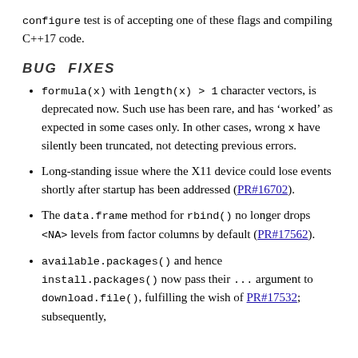configure test is of accepting one of these flags and compiling C++17 code.
BUG FIXES
formula(x) with length(x) > 1 character vectors, is deprecated now. Such use has been rare, and has 'worked' as expected in some cases only. In other cases, wrong x have silently been truncated, not detecting previous errors.
Long-standing issue where the X11 device could lose events shortly after startup has been addressed (PR#16702).
The data.frame method for rbind() no longer drops <NA> levels from factor columns by default (PR#17562).
available.packages() and hence install.packages() now pass their ... argument to download.file(), fulfilling the wish of PR#17532; subsequently,